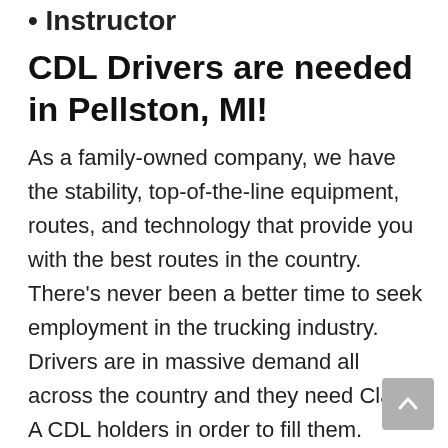• Instructor
CDL Drivers are needed in Pellston, MI!
As a family-owned company, we have the stability, top-of-the-line equipment, routes, and technology that provide you with the best routes in the country. There's never been a better time to seek employment in the trucking industry.  Drivers are in massive demand all across the country and they need Class A CDL holders in order to fill them. Demand likely isn't going away any time soon...